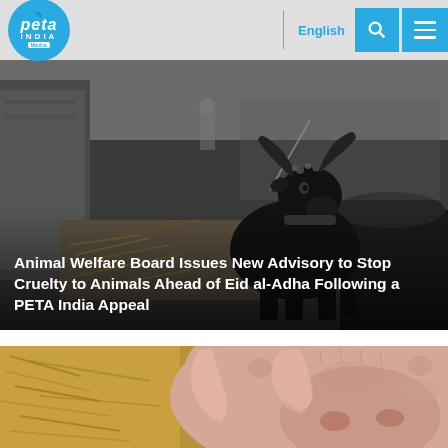[Figure (screenshot): PETA India website header with logo, English language selector, search icon, and hamburger menu]
[Figure (photo): Black and white photo of a black goat/ram with horns sitting on hay in a street scene with buildings in background]
Animal Welfare Board Issues New Advisory to Stop Cruelty to Animals Ahead of Eid al-Adha Following a PETA India Appeal
[Figure (photo): Close-up color photo of a pig's face and ears with straw/hay in background]